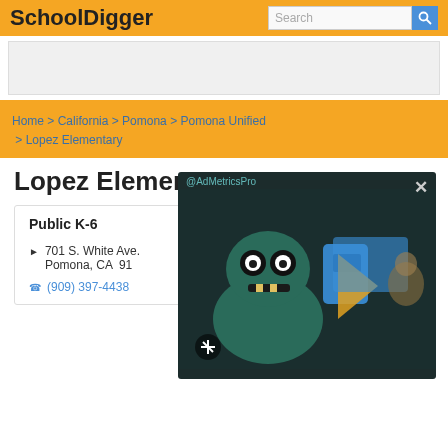SchoolDigger
Home > California > Pomona > Pomona Unified > Lopez Elementary
Lopez Elementary
Public K-6
701 S. White Ave., Pomona, CA  91
(909) 397-4438
[Figure (screenshot): AdMetricsPro video ad overlay showing animated green monster character with blue and yellow play button graphics on dark background, with close (X) button and mute button]